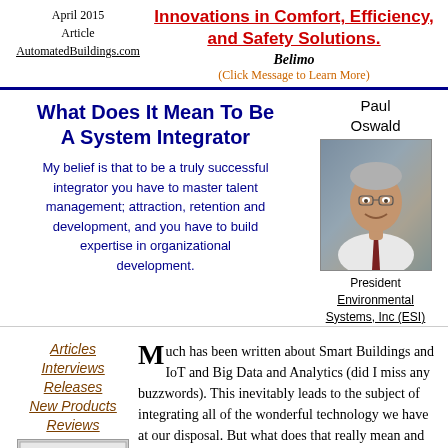April 2015
Article
AutomatedBuildings.com
Innovations in Comfort, Efficiency, and Safety Solutions.
Belimo
(Click Message to Learn More)
What Does It Mean To Be A System Integrator
My belief is that to be a truly successful integrator you have to master talent management; attraction, retention and development, and you have to build expertise in organizational development.
Paul Oswald
[Figure (photo): Portrait photo of Paul Oswald, smiling man in white shirt and dark tie]
President
Environmental Systems, Inc (ESI)
Articles
Interviews
Releases
New Products
Reviews
Much has been written about Smart Buildings and IoT and Big Data and Analytics (did I miss any buzzwords). This inevitably leads to the subject of integrating all of the wonderful technology we have at our disposal. But what does that really mean and who are these folks who perform this integration? What skills must